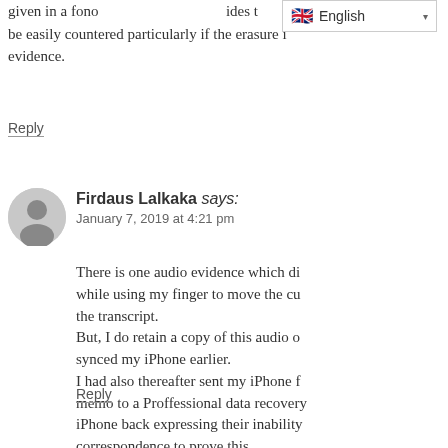given in a fono... ides t be easily countered particularly if the erasure i evidence.
Reply
Firdaus Lalkaka says:
January 7, 2019 at 4:21 pm
There is one audio evidence which di while using my finger to move the cu the transcript. But, I do retain a copy of this audio o synced my iPhone earlier. I had also thereafter sent my iPhone f memo to a Proffessional data recovery iPhone back expressing their inability correspondence to prove this.
Reply